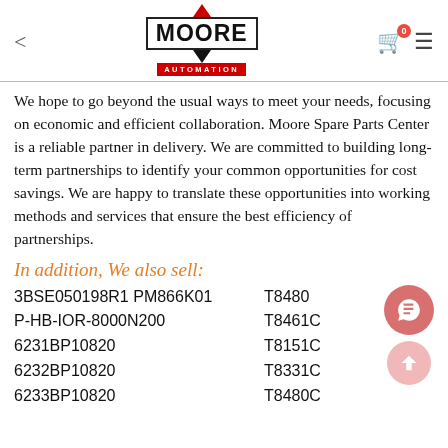< MOORE AUTOMATION
We hope to go beyond the usual ways to meet your needs, focusing on economic and efficient collaboration. Moore Spare Parts Center is a reliable partner in delivery. We are committed to building long-term partnerships to identify your common opportunities for cost savings. We are happy to translate these opportunities into working methods and services that ensure the best efficiency of partnerships.
In addition, We also sell:
3BSE050198R1 PM866K01   T8480
P-HB-IOR-8000N200   T8461C
6231BP10820   T8151C
6232BP10820   T8331C
6233BP10820   T8480C